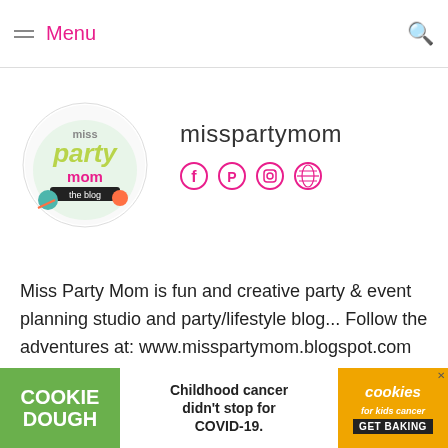Menu
[Figure (logo): Miss Party Mom the blog circular logo with colorful lettering and decorative elements]
misspartymom
[Figure (infographic): Social media icons: Facebook, Pinterest, Instagram, Globe/web]
Miss Party Mom is fun and creative party & event planning studio and party/lifestyle blog... Follow the adventures at: www.misspartymom.blogspot.com
[Figure (infographic): Advertisement banner: COOKIE DOUGH text on green background, Childhood cancer didn't stop for COVID-19. text, cookies for kids cancer GET BAKING on orange background]